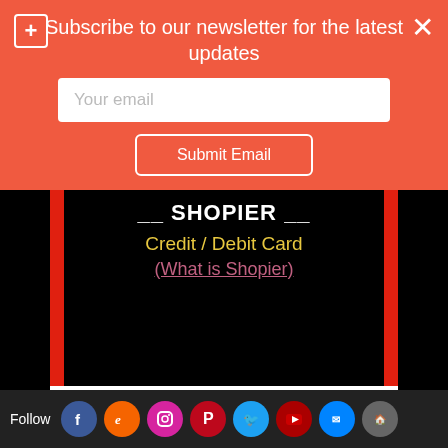Subscribe to our newsletter for the latest updates
Your email
Submit Email
__ SHOPIER __
Credit / Debit Card
(What is Shopier)
[Figure (logo): VISA, MasterCard, Maestro, American Express card logos on white background]
[Figure (infographic): BUY NOW button with gold/yellow gradient background and dark blue bold text]
Follow